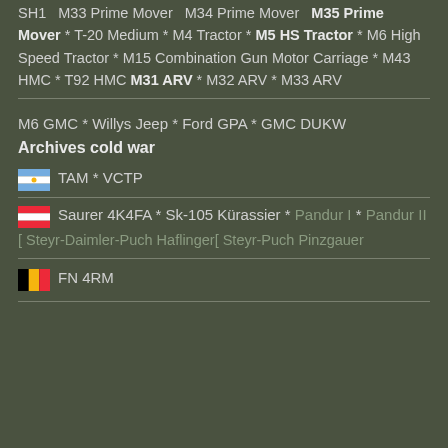SH1  M33 Prime Mover  M34 Prime Mover  M35 Prime Mover * T-20 Medium * M4 Tractor * M5 HS Tractor * M6 High Speed Tractor * M15 Combination Gun Motor Carriage * M43 HMC * T92 HMC M31 ARV * M32 ARV * M33 ARV
M6 GMC * Willys Jeep * Ford GPA * GMC DUKW
Archives cold war
🇦🇷 TAM * VCTP
🇦🇹 Saurer 4K4FA * Sk-105 Kürassier * Pandur I * Pandur II
[ Steyr-Daimler-Puch Haflinger[ Steyr-Puch Pinzgauer
🇧🇪 FN 4RM